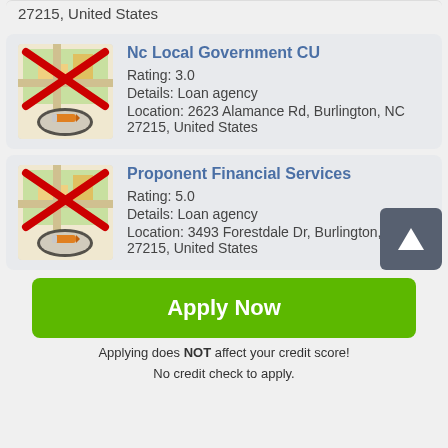27215, United States
Nc Local Government CU
Rating: 3.0
Details: Loan agency
Location: 2623 Alamance Rd, Burlington, NC 27215, United States
Proponent Financial Services
Rating: 5.0
Details: Loan agency
Location: 3493 Forestdale Dr, Burlington, 27215, United States
Apply Now
Applying does NOT affect your credit score!
No credit check to apply.